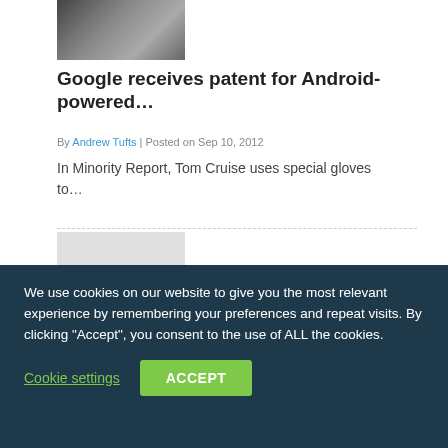[Figure (photo): Photo of a person wearing gloves interacting with a device, partially visible at top]
Google receives patent for Android-powered…
By Andrew Tufts | Posted on Sep 10, 2012
In Minority Report, Tom Cruise uses special gloves to…
[Figure (screenshot): Screenshot showing Google app icons including Google Docs, Gmail, Drive, Calendar, a green plus app, and another Gmail icon on a light grey background]
We use cookies on our website to give you the most relevant experience by remembering your preferences and repeat visits. By clicking “Accept”, you consent to the use of ALL the cookies.
Cookie settings
ACCEPT